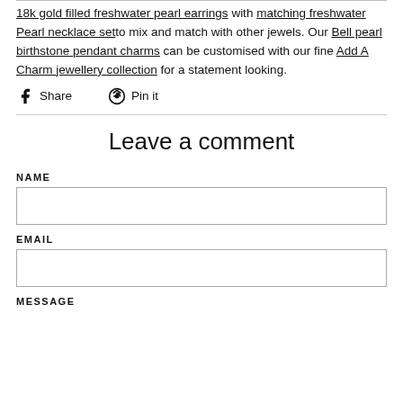18k gold filled freshwater pearl earrings with matching freshwater Pearl necklace setto mix and match with other jewels. Our Bell pearl birthstone pendant charms can be customised with our fine Add A Charm jewellery collection for a statement looking.
Share   Pin it
Leave a comment
NAME
EMAIL
MESSAGE